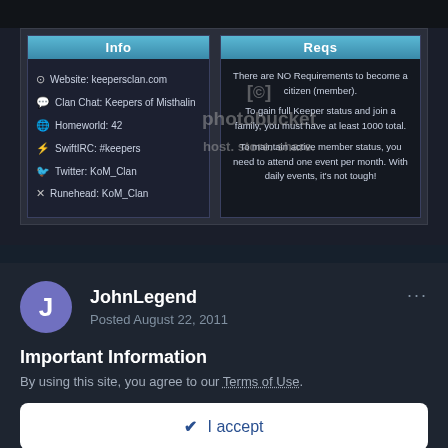[Figure (screenshot): Screenshot of a clan information page showing two panels: 'Info' panel with Website: keepersclan.com, Clan Chat: Keepers of Misthalin, Homeworld: 42, SwiftIRC: #keepers, Twitter: KoM_Clan, Runehead: KoM_Clan; and 'Reqs' panel explaining membership requirements including no requirements to become citizen, 1000 total for full Keeper status, and attending one event per month. Photobucket watermark overlay visible.]
JohnLegend
Posted August 22, 2011
Important Information
By using this site, you agree to our Terms of Use.
✔ I accept